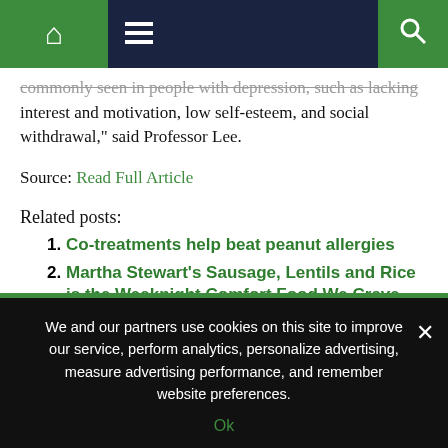Navigation bar with home, menu, and search icons
commonly seen in people with depression, such as lacking interest and motivation, low self-esteem, and social withdrawal," said Professor Lee.
Source: Read Full Article
Related posts:
Co-treatments help beat peanut allergies
Martha Stewart’s Sausage, Lentils and Rice is the Weeknight Comfort Food We Crave
Insights into the pathophysiology of NeuroCOVID
We and our partners use cookies on this site to improve our service, perform analytics, personalize advertising, measure advertising performance, and remember website preferences.
Ok